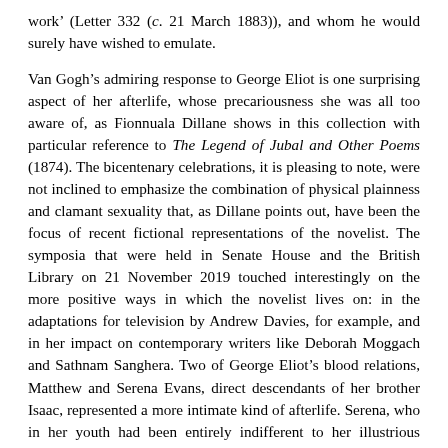work' (Letter 332 (c. 21 March 1883)), and whom he would surely have wished to emulate.
Van Gogh's admiring response to George Eliot is one surprising aspect of her afterlife, whose precariousness she was all too aware of, as Fionnuala Dillane shows in this collection with particular reference to The Legend of Jubal and Other Poems (1874). The bicentenary celebrations, it is pleasing to note, were not inclined to emphasize the combination of physical plainness and clamant sexuality that, as Dillane points out, have been the focus of recent fictional representations of the novelist. The symposia that were held in Senate House and the British Library on 21 November 2019 touched interestingly on the more positive ways in which the novelist lives on: in the adaptations for television by Andrew Davies, for example, and in her impact on contemporary writers like Deborah Moggach and Sathnam Sanghera. Two of George Eliot's blood relations, Matthew and Serena Evans, direct descendants of her brother Isaac, represented a more intimate kind of afterlife. Serena, who in her youth had been entirely indifferent to her illustrious forebear, discovered as an actress the power of her family connection when she revealed it to a particularly difficult woman director, who immediately sank to her knees in front of her in homage. Both these symposia concluded with the most effective demonstration of how George Eliot lives on, despite her own doubts, when, at Senate House, Serena joined Gabriel